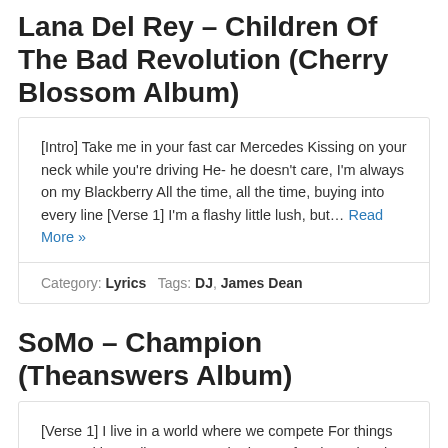Lana Del Rey – Children Of The Bad Revolution (Cherry Blossom Album)
[Intro] Take me in your fast car Mercedes Kissing on your neck while you're driving He- he doesn't care, I'm always on my Blackberry All the time, all the time, buying into every line [Verse 1] I'm a flashy little lush, but… Read More »
Category: Lyrics   Tags: DJ, James Dean
SoMo – Champion (Theanswers Album)
[Verse 1] I live in a world where we compete For things we need in our lives I've got the heart of a champion, but with you I'm